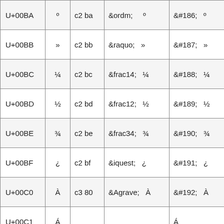| U+00BA | º | c2 ba | &ordm;    º | &#186;    º |
| U+00BB | » | c2 bb | &raquo;    » | &#187;    » |
| U+00BC | ¼ | c2 bc | &frac14;    ¼ | &#188;    ¼ |
| U+00BD | ½ | c2 bd | &frac12;    ½ | &#189;    ½ |
| U+00BE | ¾ | c2 be | &frac34;    ¾ | &#190;    ¾ |
| U+00BF | ¿ | c2 bf | &iquest;    ¿ | &#191;    ¿ |
| U+00C0 | À | c3 80 | &Agrave;    À | &#192;    À |
| U+00C1 | Á | c3 81 | &Aacute;    Á | &#193;    Á |